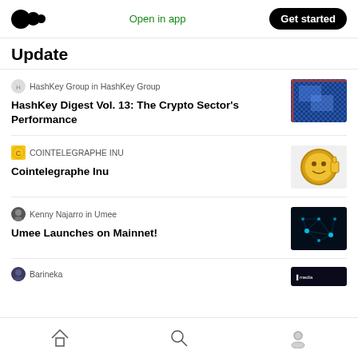Open in app | Get started
Update
HashKey Group in HashKey Group
HashKey Digest Vol. 13: The Crypto Sector's Performance
[Figure (photo): Blue grid pattern thumbnail for HashKey article]
COINTELEGRAPHE INU
Cointelegraphe Inu
[Figure (illustration): Gold coin Dogecoin-style meme logo for Cointelegraphe Inu]
Kenny Najarro in Umee
Umee Launches on Mainnet!
[Figure (photo): Blue glowing network nodes thumbnail for Umee article]
Barineka
Home | Search | Profile